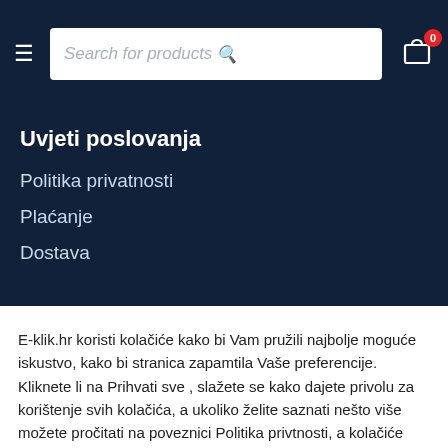[Figure (screenshot): Navigation bar with hamburger menu, search field placeholder 'Search for products', search icon, and shopping cart icon with badge showing 0]
Uvjeti poslovanja
Politika privatnosti
Plaćanje
Dostava
E-klik.hr koristi kolačiće kako bi Vam pružili najbolje moguće iskustvo, kako bi stranica zapamtila Vaše preferencije. Kliknete li na Prihvati sve , slažete se kako dajete privolu za korištenje svih kolačića, a ukoliko želite saznati nešto više možete pročitati na poveznici Politika privtnosti, a kolačiće možete uključiti ili isključiti u postavkama Cookie settings..
Cookie Settings   Prihvati
English   Hrvatski